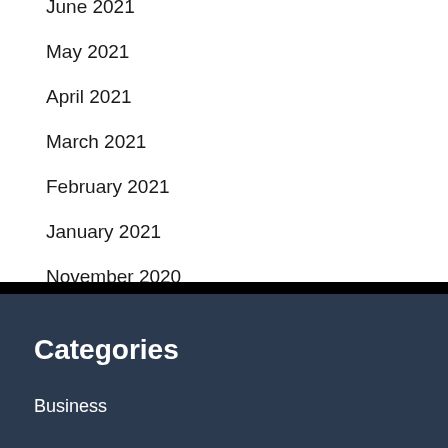June 2021
May 2021
April 2021
March 2021
February 2021
January 2021
November 2020
July 2020
Categories
Business